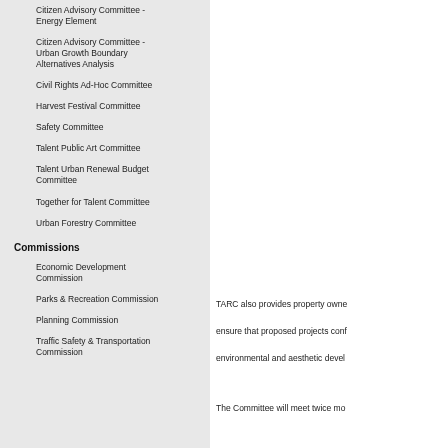Citizen Advisory Committee - Energy Element
Citizen Advisory Committee - Urban Growth Boundary Alternatives Analysis
Civil Rights Ad-Hoc Committee
Harvest Festival Committee
Safety Committee
Talent Public Art Committee
Talent Urban Renewal Budget Committee
Together for Talent Committee
Urban Forestry Committee
Commissions
Economic Development Commission
Parks & Recreation Commission
Planning Commission
Traffic Safety & Transportation Commission
TARC also provides property owne... ensure that proposed projects cont... environmental and aesthetic devel...
The Committee will meet twice mo...